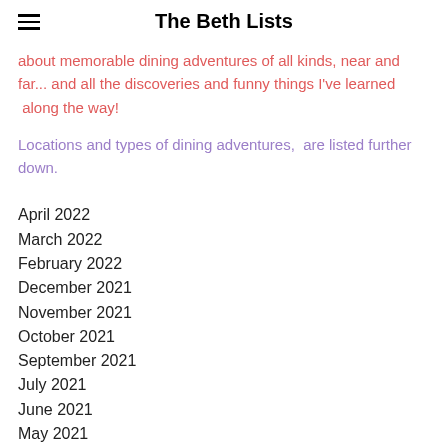The Beth Lists
about memorable dining adventures of all kinds, near and far... and all the discoveries and funny things I've learned  along the way!
Locations and types of dining adventures,  are listed further down.
April 2022
March 2022
February 2022
December 2021
November 2021
October 2021
September 2021
July 2021
June 2021
May 2021